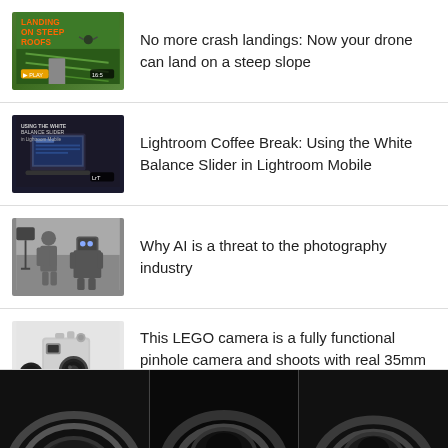[Figure (photo): Thumbnail: aerial view with text LANDING ON STEEP ROOFS on green background]
No more crash landings: Now your drone can land on a steep slope
[Figure (photo): Thumbnail: laptop with Lightroom photo editing software open, dark background]
Lightroom Coffee Break: Using the White Balance Slider in Lightroom Mobile
[Figure (photo): Thumbnail: person and robot in studio/photography setting]
Why AI is a threat to the photography industry
[Figure (photo): Thumbnail: LEGO camera model resembling a rangefinder camera with lens cap]
This LEGO camera is a fully functional pinhole camera and shoots with real 35mm film
[Figure (photo): Bottom row: three camera lens thumbnails side by side on dark background]